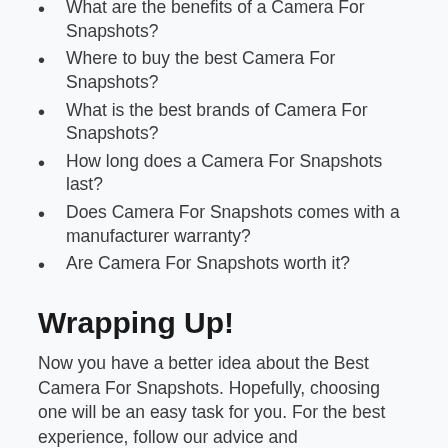What are the benefits of a Camera For Snapshots?
Where to buy the best Camera For Snapshots?
What is the best brands of Camera For Snapshots?
How long does a Camera For Snapshots last?
Does Camera For Snapshots comes with a manufacturer warranty?
Are Camera For Snapshots worth it?
Wrapping Up!
Now you have a better idea about the Best Camera For Snapshots. Hopefully, choosing one will be an easy task for you. For the best experience, follow our advice and